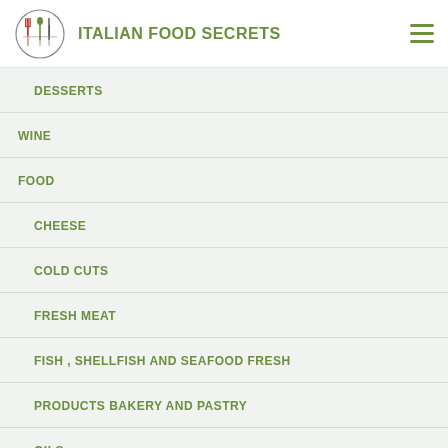ITALIAN FOOD SECRETS
DESSERTS
WINE
FOOD
CHEESE
COLD CUTS
FRESH MEAT
FISH , SHELLFISH AND SEAFOOD FRESH
PRODUCTS BAKERY AND PASTRY
OILS